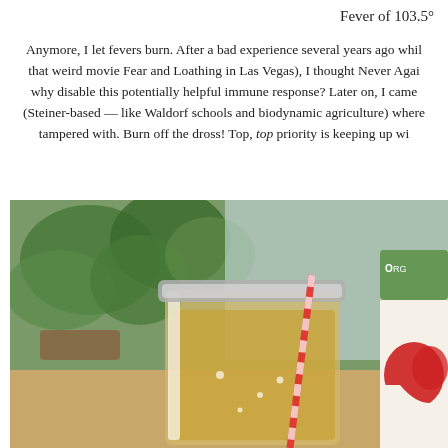Fever of 103.5°
Anymore, I let fevers burn. After a bad experience several years ago while watching that weird movie Fear and Loathing in Las Vegas), I thought Never Again… why disable this potentially helpful immune response? Later on, I came (Steiner-based — like Waldorf schools and biodynamic agriculture) where tampered with. Burn off the dross! Top, top priority is keeping up wi
[Figure (photo): A mason jar filled with a golden/amber liquid (likely apple cider vinegar drink) with a red-striped straw, plants in the background, and a bottle of apple cider vinegar on the right.]